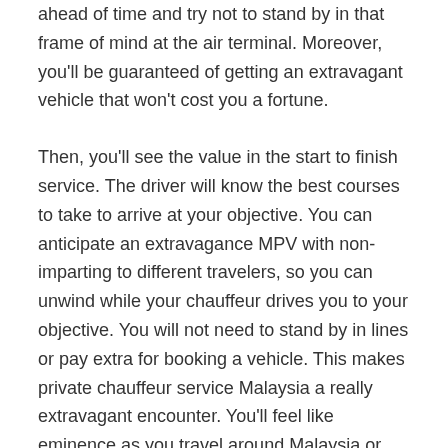ahead of time and try not to stand by in that frame of mind at the air terminal. Moreover, you'll be guaranteed of getting an extravagant vehicle that won't cost you a fortune.
Then, you'll see the value in the start to finish service. The driver will know the best courses to take to arrive at your objective. You can anticipate an extravagance MPV with non-imparting to different travelers, so you can unwind while your chauffeur drives you to your objective. You will not need to stand by in lines or pay extra for booking a vehicle. This makes private chauffeur service Malaysia a really extravagant encounter. You'll feel like eminence as you travel around Malaysia or Singapore in style.
Private chauffeurs will be learned about the best course to take to try not to get lost or late. These chauffeurs know the most secure courses to take and can explore around road